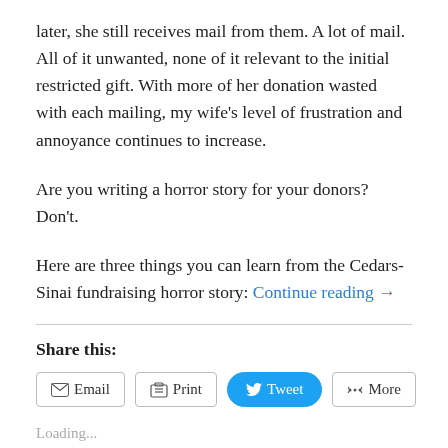later, she still receives mail from them. A lot of mail. All of it unwanted, none of it relevant to the initial restricted gift. With more of her donation wasted with each mailing, my wife's level of frustration and annoyance continues to increase.
Are you writing a horror story for your donors? Don't.
Here are three things you can learn from the Cedars-Sinai fundraising horror story: Continue reading →
Share this:
Loading...